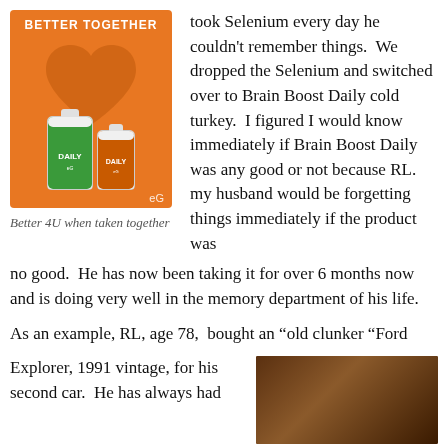[Figure (photo): Product image with orange background, heart shape, two supplement bottles (green Daily and orange Daily), text BETTER TOGETHER at top, eG logo at bottom right]
Better 4U when taken together
took Selenium every day he couldn't remember things.  We dropped the Selenium and switched over to Brain Boost Daily cold turkey.  I figured I would know immediately if Brain Boost Daily was any good or not because RL. my husband would be forgetting things immediately if the product was no good.  He has now been taking it for over 6 months now and is doing very well in the memory department of his life.
As an example, RL, age 78,  bought an “old clunker “Ford
Explorer, 1991 vintage, for his second car.  He has always had
[Figure (photo): Dark reddish-brown image, appears to show interior/furniture, partially visible at bottom right of page]